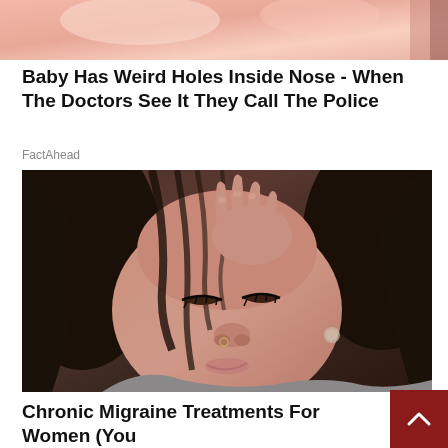[Figure (photo): Partial photo of a baby's face, cropped at top of page]
Baby Has Weird Holes Inside Nose - When The Doctors See It They Call The Police
FactAhead
[Figure (photo): Woman with dark wet hair pressing fingers to her forehead with eyes closed, appearing to have a headache or migraine]
Chronic Migraine Treatments For Women (You May Want To Try)